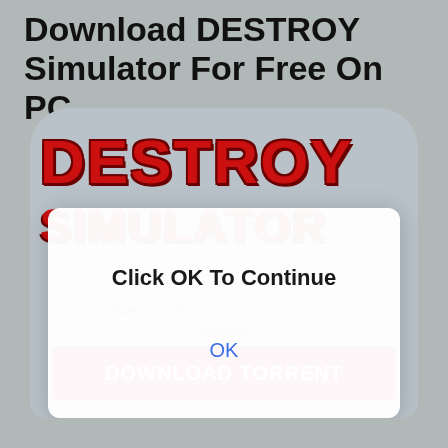Download DESTROY Simulator For Free On PC
[Figure (screenshot): DESTROY Simulator game logo on a gray rounded card background, with red textured 3D-style lettering for 'DESTROY' and 'SIMULATOR']
[Figure (screenshot): Modal dialog overlay with white background showing 'Click OK To Continue' text and blue 'OK' button]
Size: 808 Mb  Game Version: Full Last Release
DOWNLOAD TORRENT